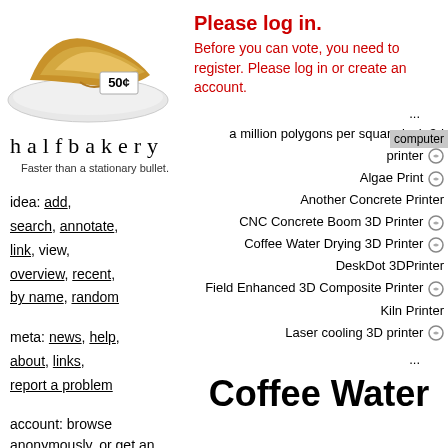[Figure (photo): A croissant on a white plate with a price tag reading 50¢]
halfbakery
Faster than a stationary bullet.
idea: add, search, annotate, link, view, overview, recent, by name, random
meta: news, help, about, links, report a problem
account: browse anonymously, or get an account and write.
Please log in. Before you can vote, you need to register. Please log in or create an account.
... a million polygons per square inch 3d printer Algae Print Another Concrete Printer CNC Concrete Boom 3D Printer Coffee Water Drying 3D Printer DeskDot 3DPrinter Field Enhanced 3D Composite Printer Kiln Printer Laser cooling 3D printer ...
Coffee Water